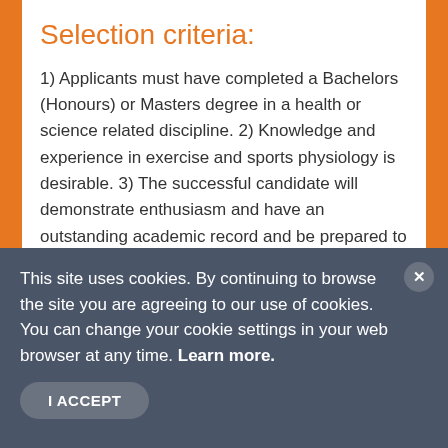Selection criteria:
1) Applicants must have completed a Bachelors (Honours) or Masters degree in a health or science related discipline. 2) Knowledge and experience in exercise and sports physiology is desirable. 3) The successful candidate will demonstrate enthusiasm and have an outstanding academic record and be prepared to conduct the doctoral study at Auckland University of Technology (AUT) based at AUT
This site uses cookies. By continuing to browse the site you are agreeing to our use of cookies. You can change your cookie settings in your web browser at any time. Learn more.
I ACCEPT